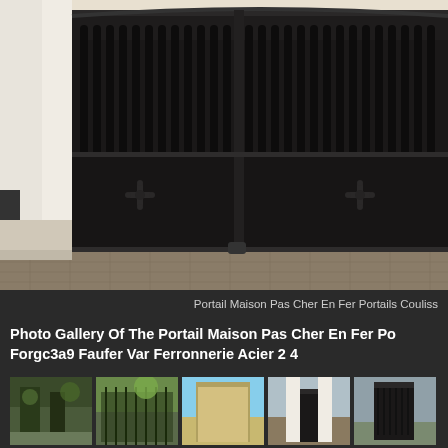[Figure (photo): Large black iron/steel double gate at a residential property entrance. The gate features vertical bars with rounded decorative tops along the upper portion and solid lower panels with ornamental cross/flower motifs. There is a white pillar on the left and paved brick driveway visible at the bottom.]
Portail Maison Pas Cher En Fer Portails Couliss
Photo Gallery Of The Portail Maison Pas Cher En Fer Po Forgc3a9 Faufer Var Ferronnerie Acier 2 4
[Figure (photo): Thumbnail 1: Outdoor gate or fence with green foliage in background]
[Figure (photo): Thumbnail 2: Metal fence or gate with green plants visible]
[Figure (photo): Thumbnail 3: Light-colored wooden or PVC gate panel]
[Figure (photo): Thumbnail 4: Black iron gate at residential entrance with white pillars]
[Figure (photo): Thumbnail 5: Partially visible gate or entrance]